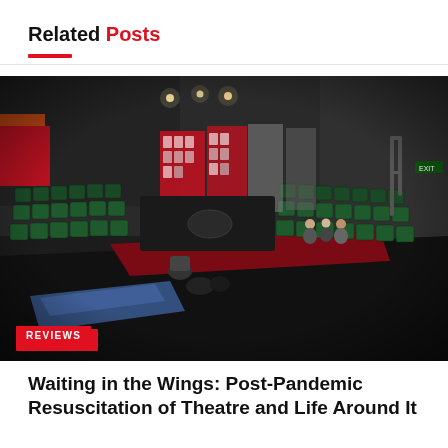Related Posts
[Figure (photo): Interior of a small theatre/black box venue with rows of dark green seats arranged in an L-shape around a black stage floor. A few audience members sit on the right side. Red carpet trim and red poster boards/lobby displays are visible in the background. The space has industrial-looking exposed pipes and dim overhead lighting. A blue tarp or cloth lies on the stage floor.]
REVIEWS
Waiting in the Wings: Post-Pandemic Resuscitation of Theatre and Life Around It